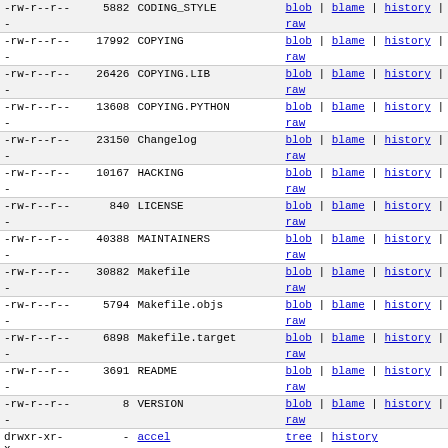| permissions | size | name | links |
| --- | --- | --- | --- |
| -rw-r--r-- | 5882 | CODING_STYLE | blob | blame | history | raw |
| -rw-r--r-- | 17992 | COPYING | blob | blame | history | raw |
| -rw-r--r-- | 26426 | COPYING.LIB | blob | blame | history | raw |
| -rw-r--r-- | 13608 | COPYING.PYTHON | blob | blame | history | raw |
| -rw-r--r-- | 23150 | Changelog | blob | blame | history | raw |
| -rw-r--r-- | 10167 | HACKING | blob | blame | history | raw |
| -rw-r--r-- | 840 | LICENSE | blob | blame | history | raw |
| -rw-r--r-- | 40388 | MAINTAINERS | blob | blame | history | raw |
| -rw-r--r-- | 30882 | Makefile | blob | blame | history | raw |
| -rw-r--r-- | 5794 | Makefile.objs | blob | blame | history | raw |
| -rw-r--r-- | 6898 | Makefile.target | blob | blame | history | raw |
| -rw-r--r-- | 3691 | README | blob | blame | history | raw |
| -rw-r--r-- | 8 | VERSION | blob | blame | history | raw |
| drwxr-xr-x | - | accel | tree | history |